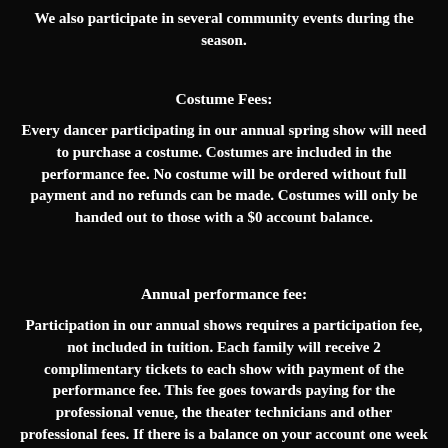We also participate in several community events during the season.
Costume Fees:
Every dancer participating in our annual spring show will need to purchase a costume. Costumes are included in the performance fee. No costume will be ordered without full payment and no refunds can be made. Costumes will only be handed out to those with a $0 account balance.
Annual performance fee:
Participation in our annual shows requires a participation fee, not included in tuition. Each family will receive 2 complimentary tickets to each show with payment of the performance fee. This fee goes towards paying for the professional venue, the theater technicians and other professional fees. If there is a balance on your account one week prior to the show, your dancer(s) will be unable to participate in the show. There are absolutely no refunds given for fees for any reason. Ask about a way to earn a discount